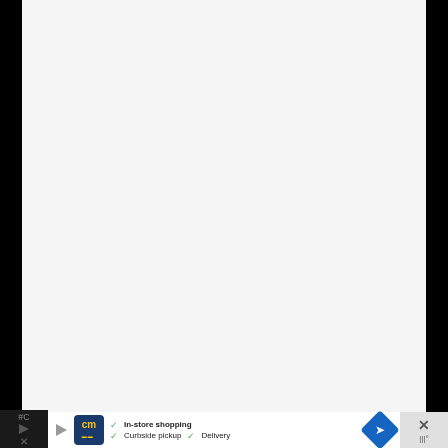[Figure (screenshot): Large blank/white content area of a webpage or app screen]
[Figure (screenshot): Bottom advertisement banner showing CM logo, checkmarks for In-store shopping, Curbside pickup, Delivery, a navigation arrow icon, and a close button]